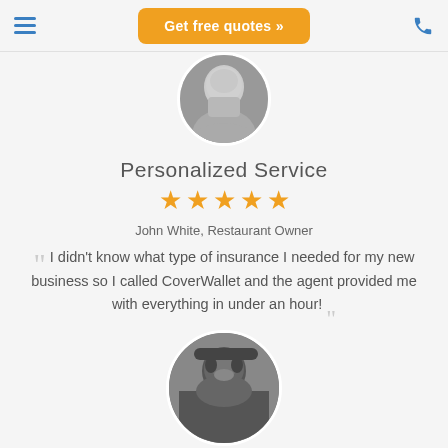Get free quotes »
[Figure (photo): Circular black and white portrait photo of John White, Restaurant Owner, cropped at top of page]
Personalized Service
[Figure (other): Five gold star rating]
John White, Restaurant Owner
I didn't know what type of insurance I needed for my new business so I called CoverWallet and the agent provided me with everything in under an hour!
[Figure (photo): Circular black and white portrait photo of a woman with dark hair, partially visible at bottom of page]